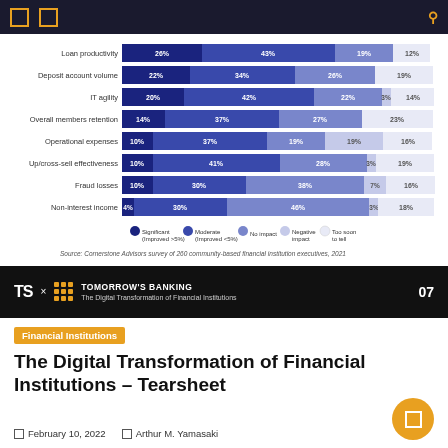[Figure (stacked-bar-chart): Impact of Digital Transformation on Key Metrics]
Source: Cornerstone Advisors survey of 260 community-based financial institution executives, 2021
TOMORROW'S BANKING The Digital Transformation of Financial Institutions 07
Financial Institutions
The Digital Transformation of Financial Institutions – Tearsheet
February 10, 2022   Arthur M. Yamasaki